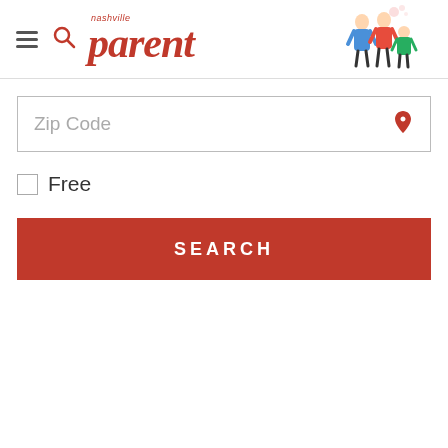[Figure (logo): Nashville Parent magazine logo with red italic 'nashville' text above large bold italic 'parent' text, with cartoon family figures to the right]
Zip Code
Free
SEARCH